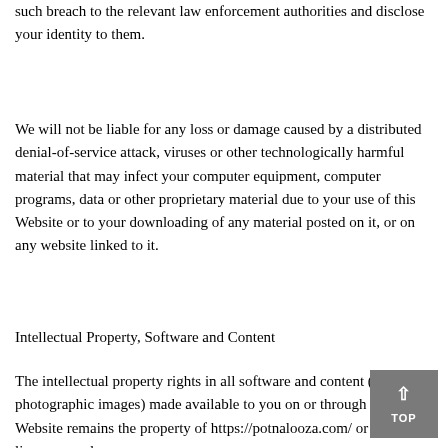such breach to the relevant law enforcement authorities and disclose your identity to them.
We will not be liable for any loss or damage caused by a distributed denial-of-service attack, viruses or other technologically harmful material that may infect your computer equipment, computer programs, data or other proprietary material due to your use of this Website or to your downloading of any material posted on it, or on any website linked to it.
Intellectual Property, Software and Content
The intellectual property rights in all software and content (including photographic images) made available to you on or through this Website remains the property of https://potnalooza.com/ or its licensors and